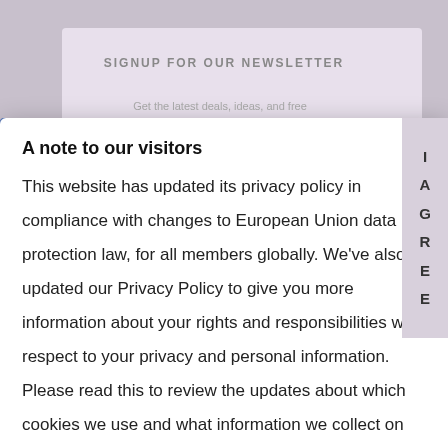SIGNUP FOR OUR NEWSLETTER
A note to our visitors
This website has updated its privacy policy in compliance with changes to European Union data protection law, for all members globally. We've also updated our Privacy Policy to give you more information about your rights and responsibilities with respect to your privacy and personal information. Please read this to review the updates about which cookies we use and what information we collect on our site. By continuing to use this site, you are agreeing to our updated privacy policy.